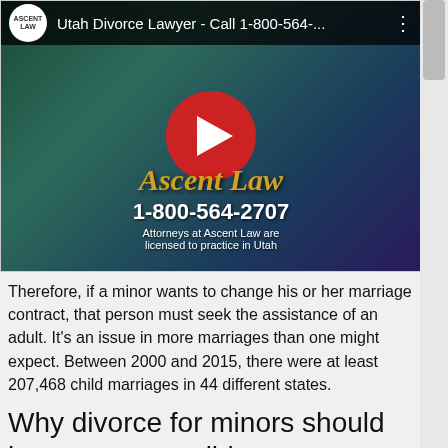[Figure (screenshot): YouTube video thumbnail for 'Utah Divorce Lawyer - Call 1-800-564-...' showing a man in a suit with Ascent Law branding, phone number 1-800-564-2707, and a red play button overlay.]
Therefore, if a minor wants to change his or her marriage contract, that person must seek the assistance of an adult. It's an issue in more marriages than one might expect. Between 2000 and 2015, there were at least 207,468 child marriages in 44 different states.
Why divorce for minors should be more accessible
Child abuse can sometimes be an issue with...